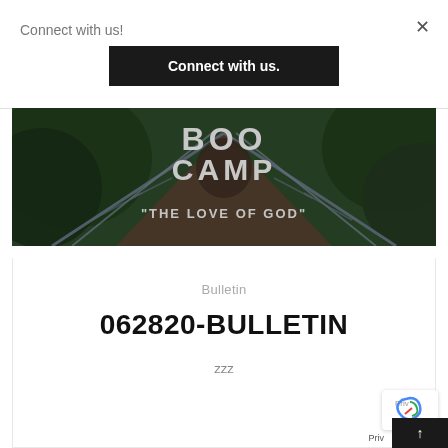Connect with us!
×
Connect with us.
[Figure (photo): Banner image showing a walkway/bridge through lush green forest with large white distressed text overlay reading 'BOO CAMP' and subtitle '"THE LOVE OF GOD"']
Bulletin
062820-BULLETIN
zzz